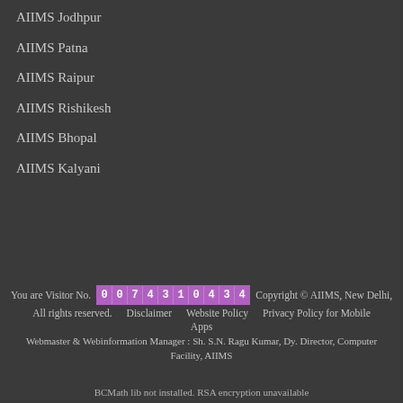AIIMS Jodhpur
AIIMS Patna
AIIMS Raipur
AIIMS Rishikesh
AIIMS Bhopal
AIIMS Kalyani
You are Visitor No. 007431043 4  Copyright © AIIMS, New Delhi, All rights reserved.  Disclaimer  Website Policy  Privacy Policy for Mobile Apps  Webmaster & Webinformation Manager : Sh. S.N. Ragu Kumar, Dy. Director, Computer Facility, AIIMS
BCMath lib not installed. RSA encryption unavailable